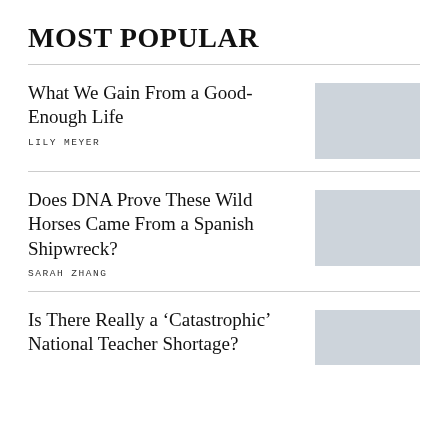MOST POPULAR
What We Gain From a Good-Enough Life — LILY MEYER
Does DNA Prove These Wild Horses Came From a Spanish Shipwreck? — SARAH ZHANG
Is There Really a ‘Catastrophic’ National Teacher Shortage?